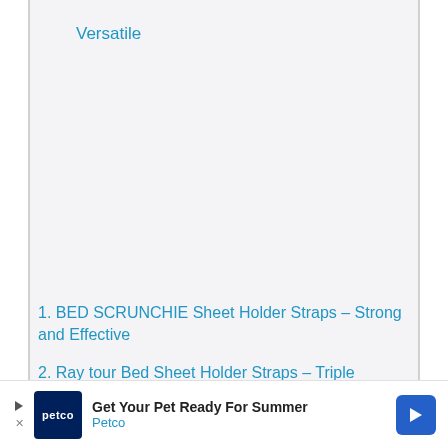Versatile
1. BED SCRUNCHIE Sheet Holder Straps – Strong and Effective
2. Ray tour Bed Sheet Holder Straps – Triple Protection Design
[Figure (other): Advertisement banner for Petco: 'Get Your Pet Ready For Summer' with Petco logo and navigation arrow]